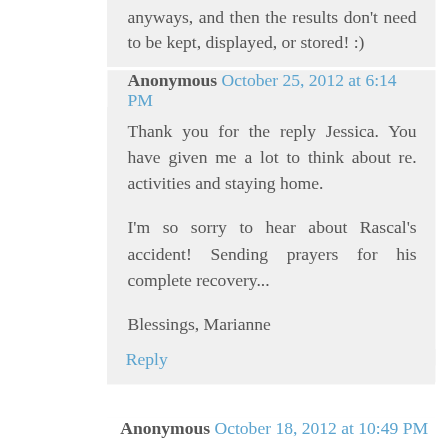anyways, and then the results don't need to be kept, displayed, or stored! :)
Anonymous October 25, 2012 at 6:14 PM
Thank you for the reply Jessica. You have given me a lot to think about re. activities and staying home.

I'm so sorry to hear about Rascal's accident! Sending prayers for his complete recovery...

Blessings, Marianne
Reply
Anonymous October 18, 2012 at 10:49 PM
I'm amazed at your projects.... I too have seven children and my son who looks to be bout the same age? No way would he finish coloring that so neatly, much less my 18